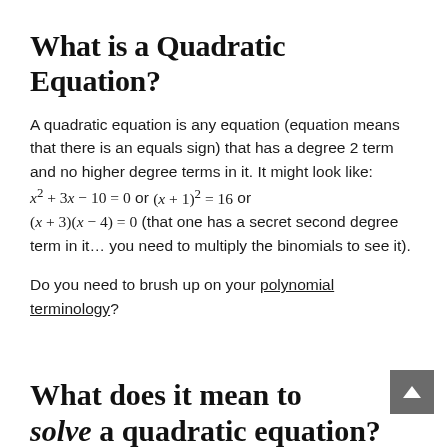What is a Quadratic Equation?
A quadratic equation is any equation (equation means that there is an equals sign) that has a degree 2 term and no higher degree terms in it. It might look like: x² + 3x − 10 = 0 or (x + 1)² = 16 or (x + 3)(x − 4) = 0 (that one has a secret second degree term in it… you need to multiply the binomials to see it).
Do you need to brush up on your polynomial terminology?
What does it mean to solve a quadratic equation?